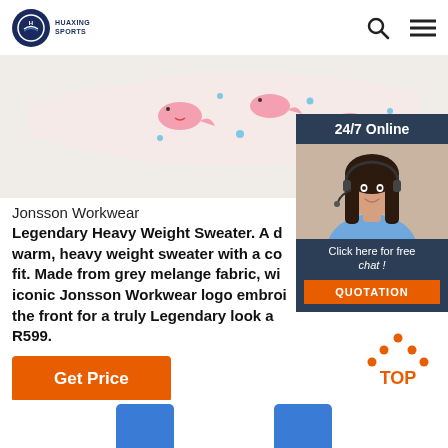Huaxing Sports — navigation header with logo, search and menu icons
[Figure (photo): Close-up of a white fabric with pink whale/seal pattern product image]
[Figure (photo): 24/7 Online chat widget showing a woman wearing a headset, with 'Click here for free chat!' text and QUOTATION button]
Jonsson Workwear
Legendary Heavy Weight Sweater. A d warm, heavy weight sweater with a co fit. Made from grey melange fabric, wi iconic Jonsson Workwear logo embroi the front for a truly Legendary look a R599.
[Figure (other): TOP back-to-top button with orange dots forming an upward arrow above the word TOP]
[Figure (photo): Two blue product items at the bottom of the page]